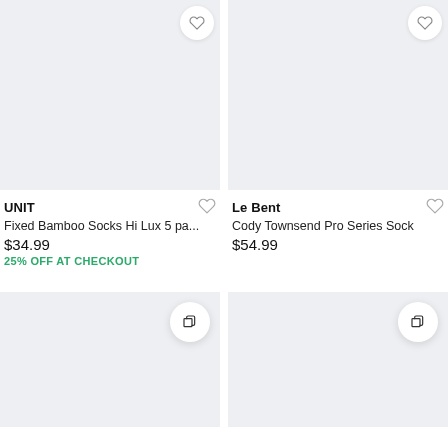[Figure (photo): Product image placeholder for UNIT Fixed Bamboo Socks Hi Lux 5 pack, light grey background]
UNIT
Fixed Bamboo Socks Hi Lux 5 pa...
$34.99
25% OFF AT CHECKOUT
[Figure (photo): Product image placeholder for Le Bent Cody Townsend Pro Series Sock, light grey background]
Le Bent
Cody Townsend Pro Series Sock
$54.99
[Figure (photo): Product image placeholder, bottom left, light grey background]
[Figure (photo): Product image placeholder, bottom right, light grey background]